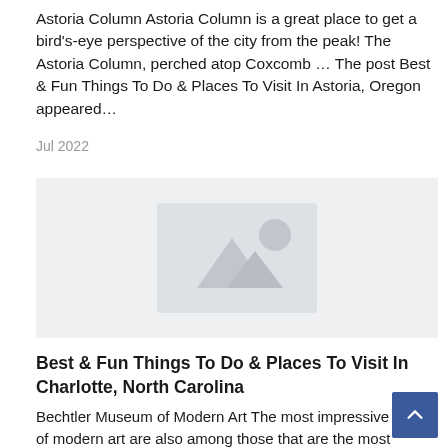Astoria Column Astoria Column is a great place to get a bird's-eye perspective of the city from the peak! The Astoria Column, perched atop Coxcomb … The post Best & Fun Things To Do & Places To Visit In Astoria, Oregon appeared…
Jul 2022
[Figure (photo): Placeholder image thumbnail with mountain and circle icon on light gray background]
Best & Fun Things To Do & Places To Visit In Charlotte, North Carolina
Bechtler Museum of Modern Art The most impressive works of modern art are also among those that are the most difficult to understand. Visiting Charlotte's … The post Best & Fun Things To Do & Places To Visit In Charlotte, North…